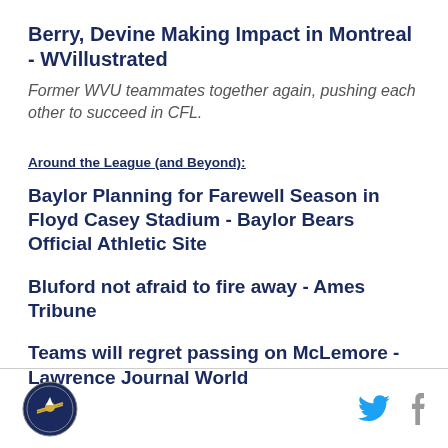Berry, Devine Making Impact in Montreal - WVillustrated
Former WVU teammates together again, pushing each other to succeed in CFL.
Around the League (and Beyond):
Baylor Planning for Farewell Season in Floyd Casey Stadium - Baylor Bears Official Athletic Site
Bluford not afraid to fire away - Ames Tribune
Teams will regret passing on McLemore - Lawrence Journal World
Footer with logo and social media icons